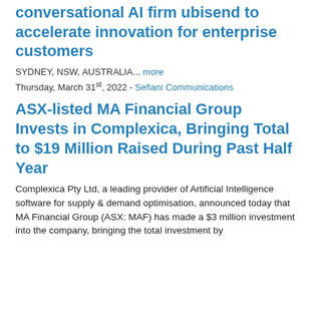conversational AI firm ubisend to accelerate innovation for enterprise customers
SYDNEY, NSW, AUSTRALIA... more
Thursday, March 31st, 2022 - Sefiani Communications
ASX-listed MA Financial Group Invests in Complexica, Bringing Total to $19 Million Raised During Past Half Year
Complexica Pty Ltd, a leading provider of Artificial Intelligence software for supply & demand optimisation, announced today that MA Financial Group (ASX: MAF) has made a $3 million investment into the company, bringing the total investment by